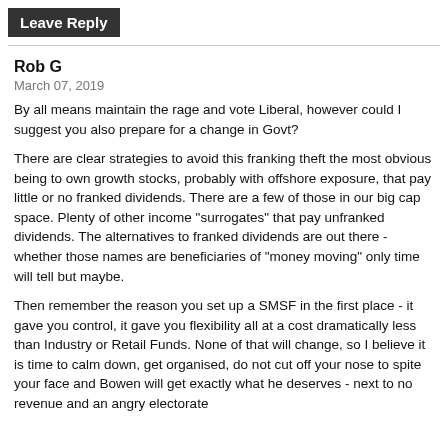Leave Reply
Rob G
March 07, 2019
By all means maintain the rage and vote Liberal, however could I suggest you also prepare for a change in Govt?
There are clear strategies to avoid this franking theft the most obvious being to own growth stocks, probably with offshore exposure, that pay little or no franked dividends. There are a few of those in our big cap space. Plenty of other income "surrogates" that pay unfranked dividends. The alternatives to franked dividends are out there - whether those names are beneficiaries of "money moving" only time will tell but maybe.
Then remember the reason you set up a SMSF in the first place - it gave you control, it gave you flexibility all at a cost dramatically less than Industry or Retail Funds. None of that will change, so I believe it is time to calm down, get organised, do not cut off your nose to spite your face and Bowen will get exactly what he deserves - next to no revenue and an angry electorate